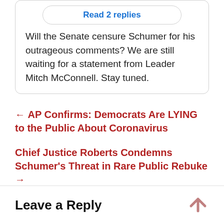Read 2 replies
Will the Senate censure Schumer for his outrageous comments? We are still waiting for a statement from Leader Mitch McConnell. Stay tuned.
← AP Confirms: Democrats Are LYING to the Public About Coronavirus
Chief Justice Roberts Condemns Schumer's Threat in Rare Public Rebuke →
Leave a Reply